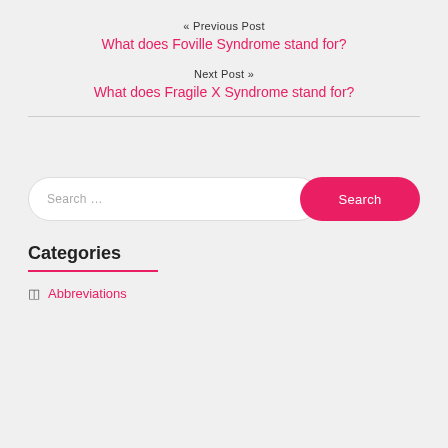« Previous Post
What does Foville Syndrome stand for?
Next Post »
What does Fragile X Syndrome stand for?
Search …  Search
Categories
Abbreviations